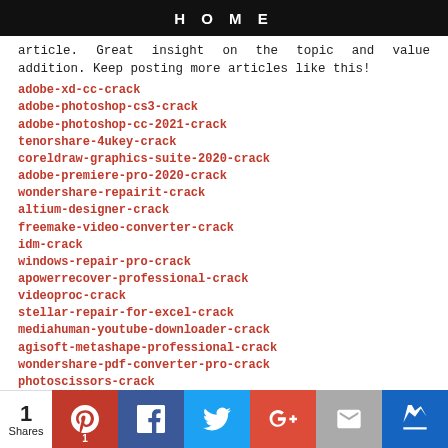HOME
article. Great insight on the topic and value addition. Keep posting more articles like this!
adobe-xd-cc-crack
adobe-photoshop-cs3-crack
adobe-photoshop-cc-2021-crack
tenorshare-4ukey-crack
coreldraw-graphics-suite-2020-crack
adobe-premiere-pro-2020-crack
wondershare-repairit-crack
altium-designer-crack
freemake-video-converter-crack
idm-crack
windows-repair-pro-crack
apowerrecover-professional-crack
videoproc-crack
stellar-repair-for-excel-crack
mediahuman-youtube-downloader-crack
agisoft-metashape-professional-crack
wondershare-pdf-converter-pro-crack
photoscissors-crack
1 Shares | Pinterest | Facebook | Twitter | Google+ | Email | Crown